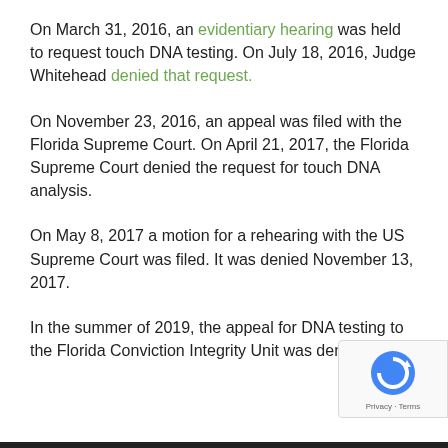On March 31, 2016, an evidentiary hearing was held to request touch DNA testing. On July 18, 2016, Judge Whitehead denied that request.
On November 23, 2016, an appeal was filed with the Florida Supreme Court. On April 21, 2017, the Florida Supreme Court denied the request for touch DNA analysis.
On May 8, 2017 a motion for a rehearing with the US Supreme Court was filed. It was denied November 13, 2017.
In the summer of 2019, the appeal for DNA testing to the Florida Conviction Integrity Unit was deni...